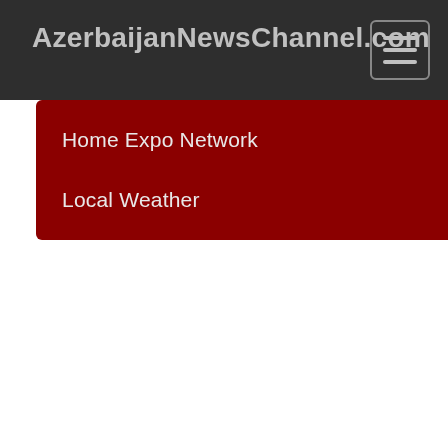AzerbaijanNewsChannel.com
Home Expo Network
Local Weather